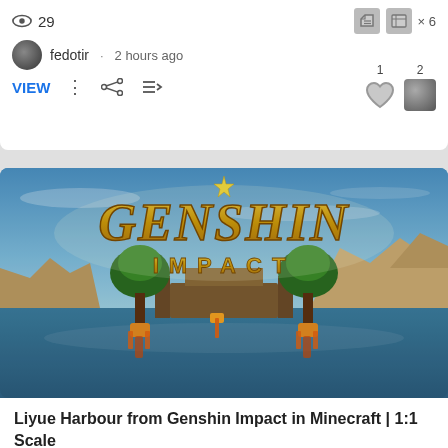29
fedotir · 2 hours ago
VIEW
[Figure (screenshot): Genshin Impact Minecraft thumbnail showing Liyue Harbour with the Genshin Impact logo in gold letters over a Minecraft-rendered landscape]
Liyue Harbour from Genshin Impact in Minecraft | 1:1 Scale
Land Structure Map